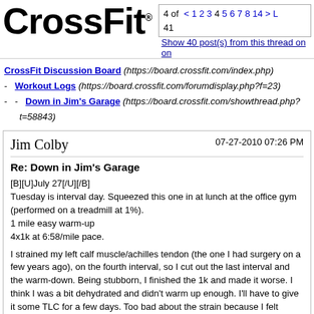CrossFit® | 4 of 41 | < 1 2 3 4 5 6 7 8 14 > L | Show 40 post(s) from this thread on one page
CrossFit Discussion Board (https://board.crossfit.com/index.php) - Workout Logs (https://board.crossfit.com/forumdisplay.php?f=23) - - Down in Jim's Garage (https://board.crossfit.com/showthread.php?t=58843)
Jim Colby | 07-27-2010 07:26 PM
Re: Down in Jim's Garage
[B][U]July 27[/U][/B]
Tuesday is interval day. Squeezed this one in at lunch at the office gym (performed on a treadmill at 1%).
1 mile easy warm-up
4x1k at 6:58/mile pace.

I strained my left calf muscle/achilles tendon (the one I had surgery on a few years ago), on the fourth interval, so I cut out the last interval and the warm-down. Being stubborn, I finished the 1k and made it worse. I think I was a bit dehydrated and didn't warm up enough. I'll have to give it some TLC for a few days. Too bad about the strain because I felt strong otherwise.

I was going to do "Roy" tonight, but I need to give the calf a bit of a rest. I'll see how I feel tomorrow and perhaps sub "Roy" for the 5K since I had an injury today. I'll have to see how this goes.